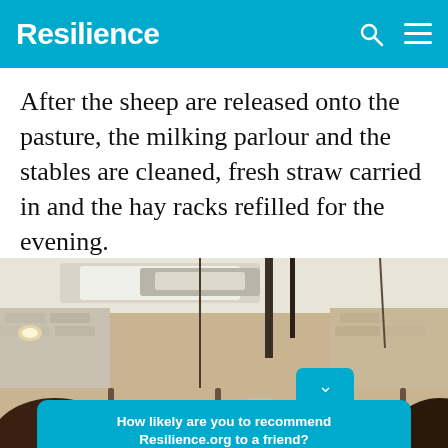Resilience
After the sheep are released onto the pasture, the milking parlour and the stables are cleaned, fresh straw carried in and the hay racks refilled for the evening.
[Figure (photo): Interior view of a barn or milking parlour from behind, showing the backs of several sheep or cows in stalls, with a whitewashed brick wall and ceiling lights visible in the background. A teal survey overlay widget is visible in the foreground.]
How likely are you to recommend Resilience.org to a friend?
Reply